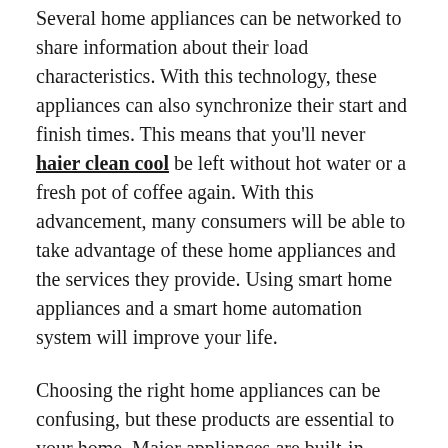Several home appliances can be networked to share information about their load characteristics. With this technology, these appliances can also synchronize their start and finish times. This means that you'll never haier clean cool be left without hot water or a fresh pot of coffee again. With this advancement, many consumers will be able to take advantage of these home appliances and the services they provide. Using smart home appliances and a smart home automation system will improve your life.
Choosing the right home appliances can be confusing, but these products are essential to your home. Major appliances are built-in pieces of machinery, while smaller appliances are meant for one use. Major appliances are important to your daily life, and are often more expensive and heavier than their smaller counterparts. Consumer